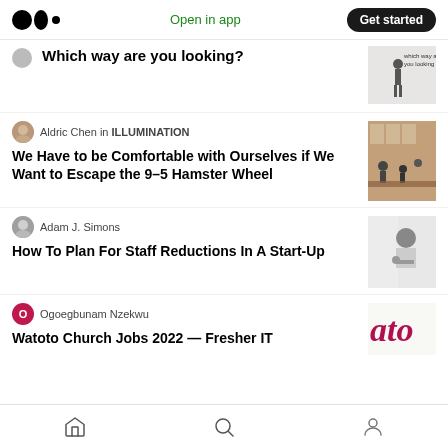Medium — Open in app | Get started
Which way are you looking?
Aldric Chen in ILLUMINATION
We Have to be Comfortable with Ourselves if We Want to Escape the 9–5 Hamster Wheel
Adam J. Simons
How To Plan For Staff Reductions In A Start-Up
Ogoegbunam Nzekwu
Watoto Church Jobs 2022 — Fresher IT
Home | Search | Profile